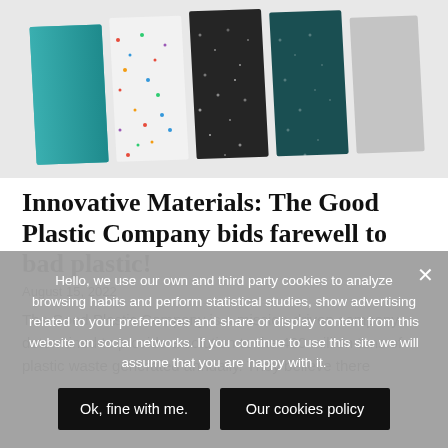[Figure (photo): Photo of colorful recycled plastic sample panels arranged in a fan/row, showing different textures and colors including teal, multicolor confetti, black speckled, dark teal speckled, and gray]
Innovative Materials: The Good Plastic Company bids farewell to bad plastic!
August 15, 2022
The Good Plastic Company is a mission-driven company determined to provide a solution to the 400 million tons of plastic waste generated annually. They believe there
Hello, we use our own and third party cookies to analyze browsing habits and perform statistical studies, show advertising related to your preferences and share or display content from this website on social networks. If you continue to use this site we will assume that you are happy with it.
Ok, fine with me.
Our cookies policy